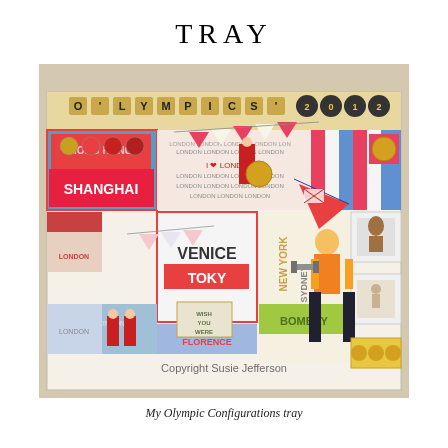TRAY
[Figure (photo): A decorated tray featuring an Olympics 2012 theme with colorful collage elements including city names (Shanghai, Venice, Tokyo, New York, Sydney, Bombay, Florence, Barcelona, London, Hong Kong), toy soldiers, a muscleman figure, medals, bunting flags, and various decorative stickers and buttons. Copyright Susie Jefferson watermark visible.]
My Olympic Configurations tray